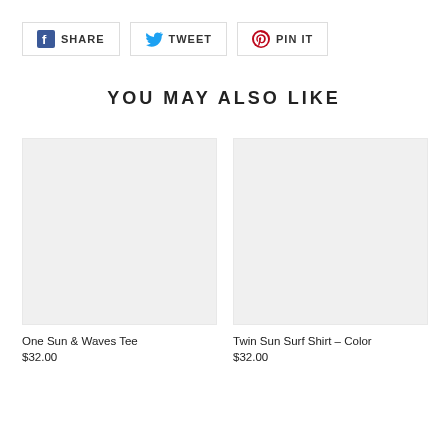[Figure (infographic): Social share buttons: Facebook SHARE, Twitter TWEET, Pinterest PIN IT]
YOU MAY ALSO LIKE
[Figure (photo): Product image placeholder for One Sun & Waves Tee]
One Sun & Waves Tee
$32.00
[Figure (photo): Product image placeholder for Twin Sun Surf Shirt – Color]
Twin Sun Surf Shirt – Color
$32.00